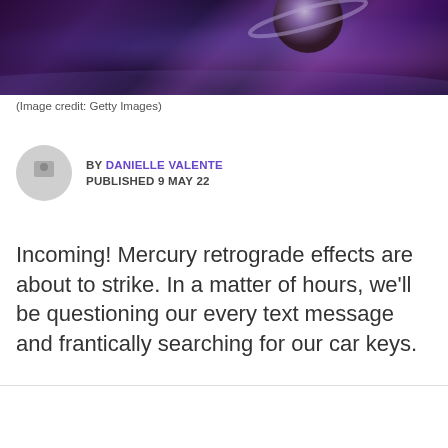[Figure (photo): Dark space/astronomy hero image with purple and blue tones showing a planet against a cosmic backdrop]
(Image credit: Getty Images)
BY DANIELLE VALENTE
PUBLISHED 9 MAY 22
Incoming! Mercury retrograde effects are about to strike. In a matter of hours, we'll be questioning our every text message and frantically searching for our car keys.